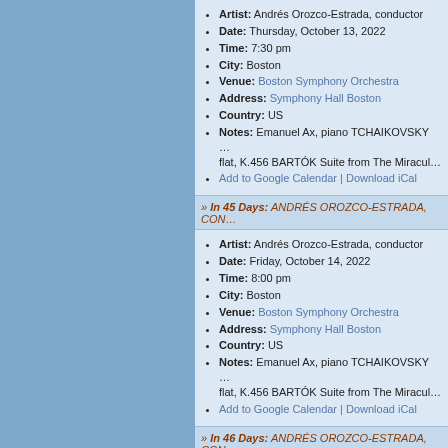Artist: Andrés Orozco-Estrada, conductor
Date: Thursday, October 13, 2022
Time: 7:30 pm
City: Boston
Venue: Boston Symphony Orchestra
Address: Symphony Hall Boston
Country: US
Notes: Emanuel Ax, piano TCHAIKOVSKY … flat, K.456 BARTÓK Suite from The Miracul…
Add to Google Calendar | Download iCal
» In 45 Days: ANDRÉS OROZCO-ESTRADA, CON…
Artist: Andrés Orozco-Estrada, conductor
Date: Friday, October 14, 2022
Time: 8:00 pm
City: Boston
Venue: Boston Symphony Orchestra
Address: Symphony Hall Boston
Country: US
Notes: Emanuel Ax, piano TCHAIKOVSKY … flat, K.456 BARTÓK Suite from The Miracul…
Add to Google Calendar | Download iCal
» In 46 Days: ANDRÉS OROZCO-ESTRADA, CON…
Artist: Andrés Orozco-Estrada, conductor
Date: Saturday, October 15, 2022
Time: 8:00 pm
City: Boston
Venue: Boston Symphony Orchestra
Address: Symphony Hall Boston
Country: US
Notes: Emanuel Ax, piano TCHAIKOVSKY … flat, K.456 BARTÓK Suite from The Miracul…
Add to Google Calendar | Download iCal